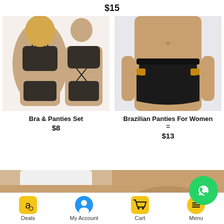$15
[Figure (photo): Product photo of Bra & Panties Set - black lace lingerie set shown front and back view]
Bra & Panties Set
$8
[Figure (photo): Product photo of Brazilian Panties For Women - black bikini style underwear with gold buckle detail]
Brazilian Panties For Women =
$13
[Figure (photo): Bottom left product photo - partial view of underwear product]
[Figure (photo): Bottom right product photo - partial view of underwear product]
Deals  My Account  Cart  Menu